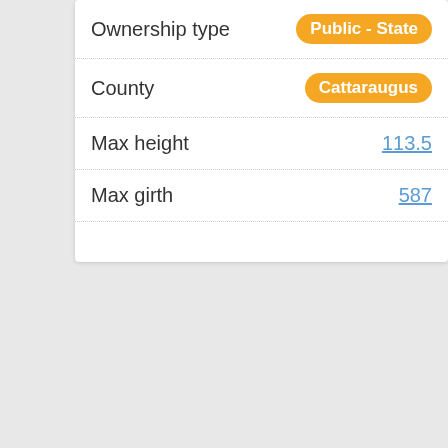| Field | Value |
| --- | --- |
| Ownership type | Public - State |
| County | Cattaraugus |
| Max height | 113.5 |
| Max girth | 587 |